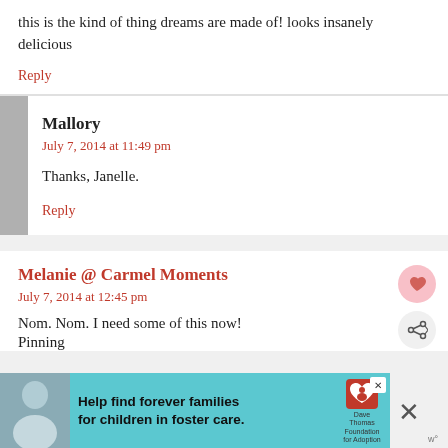this is the kind of thing dreams are made of! looks insanely delicious
Reply
Mallory
July 7, 2014 at 11:49 pm
Thanks, Janelle.
Reply
Melanie @ Carmel Moments
July 7, 2014 at 12:45 pm
Nom. Nom. I need some of this now!
Pinning
[Figure (infographic): Advertisement banner: Help find forever families for children in foster care. Dave Thomas Foundation for Adoption. Photo of a young boy.]